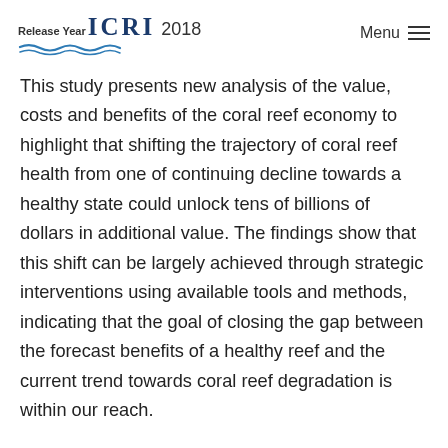ICRI Release Year 2018 Menu
This study presents new analysis of the value, costs and benefits of the coral reef economy to highlight that shifting the trajectory of coral reef health from one of continuing decline towards a healthy state could unlock tens of billions of dollars in additional value. The findings show that this shift can be largely achieved through strategic interventions using available tools and methods, indicating that the goal of closing the gap between the forecast benefits of a healthy reef and the current trend towards coral reef degradation is within our reach.